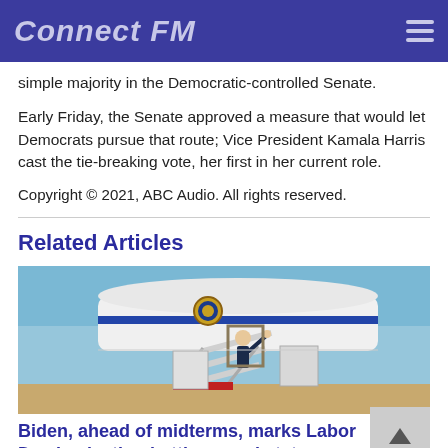Connect FM
simple majority in the Democratic-controlled Senate.
Early Friday, the Senate approved a measure that would let Democrats pursue that route; Vice President Kamala Harris cast the tie-breaking vote, her first in her current role.
Copyright © 2021, ABC Audio. All rights reserved.
Related Articles
[Figure (photo): Person waving at the top of airplane stairs (Air Force One), blue sky background]
Biden, ahead of midterms, marks Labor Day in election battleground states